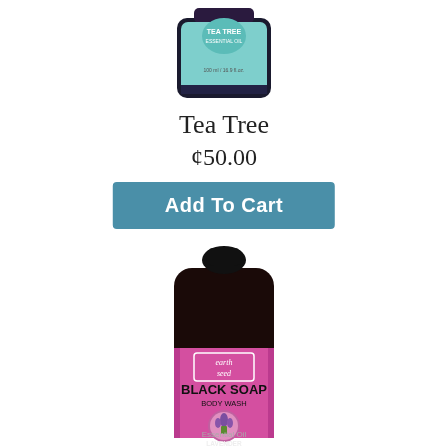[Figure (photo): Tea Tree essential oil bottle with teal/cyan label showing 'TEA TREE ESSENTIAL OIL 100ml / 16.9 fl.oz.' with a black cap, top portion only visible]
Tea Tree
¢50.00
Add To Cart
[Figure (photo): Earth Seed Black Soap Body Wash bottle with black squeeze bottle shape, pink/magenta label reading 'earth seed BLACK SOAP BODY WASH' with a circular lavender flower graphic at bottom and text 'LAVENDER Essential Oil']